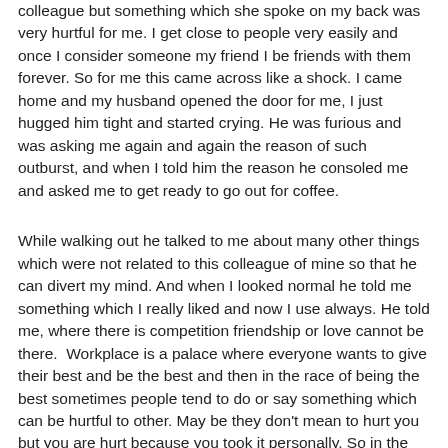colleague but something which she spoke on my back was very hurtful for me. I get close to people very easily and once I consider someone my friend I be friends with them forever. So for me this came across like a shock. I came home and my husband opened the door for me, I just hugged him tight and started crying. He was furious and was asking me again and again the reason of such outburst, and when I told him the reason he consoled me and asked me to get ready to go out for coffee.
While walking out he talked to me about many other things which were not related to this colleague of mine so that he can divert my mind. And when I looked normal he told me something which I really liked and now I use always. He told me, where there is competition friendship or love cannot be there.  Workplace is a palace where everyone wants to give their best and be the best and then in the race of being the best sometimes people tend to do or say something which can be hurtful to other. May be they don't mean to hurt you but you are hurt because you took it personally. So in the business world keep professional and personal things separate, when you mix these two you will have problems. I